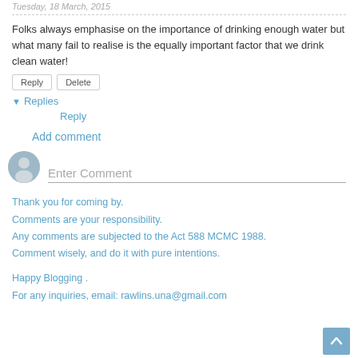Tuesday, 18 March, 2015
Folks always emphasise on the importance of drinking enough water but what many fail to realise is the equally important factor that we drink clean water!
Reply | Delete
▾ Replies
Reply
Add comment
Enter Comment
Thank you for coming by.
Comments are your responsibility.
Any comments are subjected to the Act 588 MCMC 1988.
Comment wisely, and do it with pure intentions.
Happy Blogging .
For any inquiries, email: rawlins.una@gmail.com